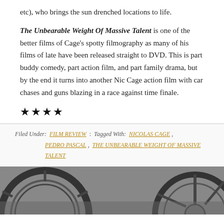etc), who brings the sun drenched locations to life.
The Unbearable Weight Of Massive Talent is one of the better films of Cage's spotty filmography as many of his films of late have been released straight to DVD. This is part buddy comedy, part action film, and part family drama, but by the end it turns into another Nic Cage action film with car chases and guns blazing in a race against time finale.
★★★★
Filed Under: FILM REVIEW : Tagged With: NICOLAS CAGE , PEDRO PASCAL , THE UNBEARABLE WEIGHT OF MASSIVE TALENT
[Figure (photo): Bottom portion of a circular object (appears to be a wheel or gear) shown in black and white/greyscale, cropped at the bottom of the page.]